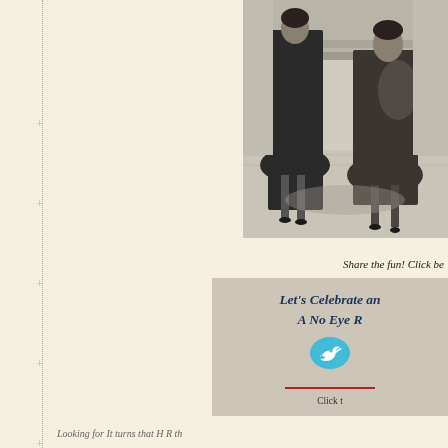[Figure (photo): Black and white photograph showing two people in formal attire in what appears to be an elegant interior setting with a patterned floor]
Share the fun! Click be
[Figure (infographic): Social share card with teal Twitter bird icon, text reading 'Let's Celebrate and A No Eye R', red underline, and 'Click t' text at bottom]
Looking for  It turns  that   H  R  th